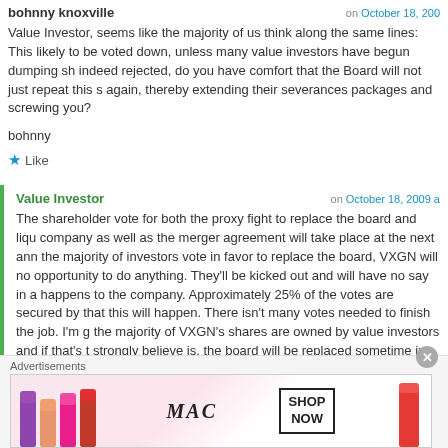bohnny knoxville on October 18, 2009
Value Investor, seems like the majority of us think along the same lines: This likely to be voted down, unless many value investors have begun dumping sh indeed rejected, do you have comfort that the Board will not just repeat this s again, thereby extending their severances packages and screwing you?
bohnny
Like
Value Investor on October 18, 2009
The shareholder vote for both the proxy fight to replace the board and liqu company as well as the merger agreement will take place at the next annu the majority of investors vote in favor to replace the board, VXGN will not opportunity to do anything. They'll be kicked out and will have no say in a happens to the company. Approximately 25% of the votes are secured by that this will happen. There isn't many votes needed to finish the job. I'm g the majority of VXGN's shares are owned by value investors and if that's t strongly believe is, the board will be replaced sometime in December
Advertisements